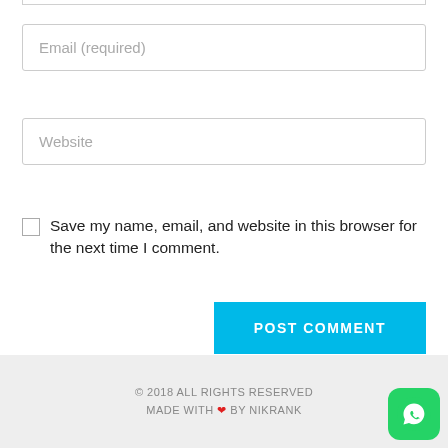Email (required)
Website
Save my name, email, and website in this browser for the next time I comment.
POST COMMENT
© 2018 ALL RIGHTS RESERVED
MADE WITH ❤ BY NIKRANK